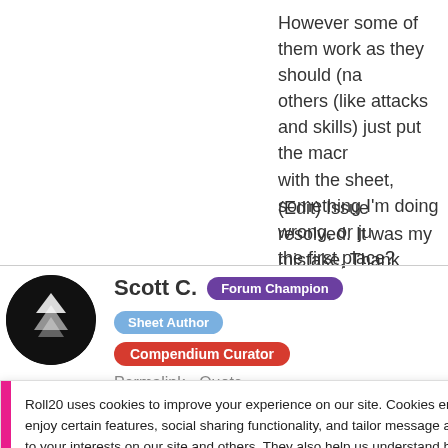However some of them work as they should (na others (like attacks and skills) just put the macr with the sheet, something I'm doing wrong, or ju the first place?
(Edit) Issue resolved. It was my mistake, Thank
Scott C.
Forum Champion
Sheet Author
Compendium Curator
Permalink   Quote
Roll20 uses cookies to improve your experience on our site. Cookies enable you to enjoy certain features, social sharing functionality, and tailor message and display ads to your interests on our site and others. They also help us understand how our site is being used. By continuing to use our site, you consent to our use of cookies. Update your cookie preferences here.
Change your token action macros so that they a